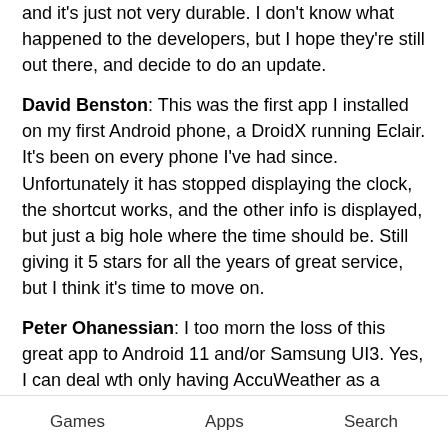and it's just not very durable. I don't know what happened to the developers, but I hope they're still out there, and decide to do an update.
David Benston: This was the first app I installed on my first Android phone, a DroidX running Eclair. It's been on every phone I've had since. Unfortunately it has stopped displaying the clock, the shortcut works, and the other info is displayed, but just a big hole where the time should be. Still giving it 5 stars for all the years of great service, but I think it's time to move on.
Peter Ohanessian: I too morn the loss of this great app to Android 11 and/or Samsung UI3. Yes, I can deal wth only having AccuWeather as a provider, and can modify the battery optimizations to get the clock to keep time, but not having the ability to use
Games   Apps   Search